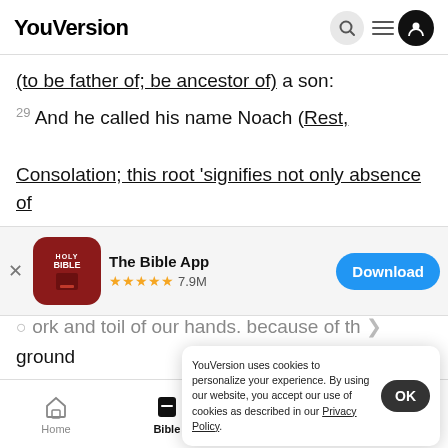YouVersion
(to be father of; be ancestor of) a son:
29 And he called his name Noach (Rest, Consolation; this root 'signifies not only absence of movement but being settled in a particular place
[Figure (screenshot): The Bible App download banner with Holy Bible icon, 5-star rating 7.9M reviews, and Download button]
ork and toil of our hands. because of th
ground
Incarna
YouVersion uses cookies to personalize your experience. By using our website, you accept our use of cookies as described in our Privacy Policy.
Home  Bible  Plans  Videos